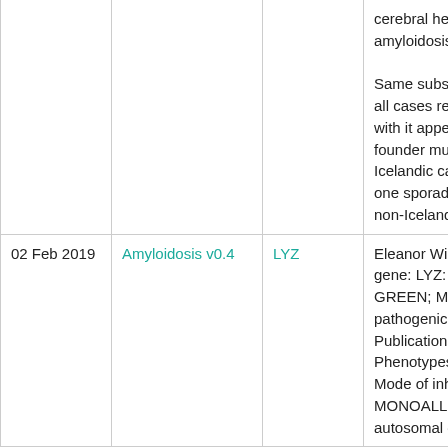| Date | Panel | Gene | Description |
| --- | --- | --- | --- |
|  |  |  | cerebral hemorrhage with amyloidosis.

Same substitution L68Q in all cases reported so far, with it appearing to be a founder mutation in the Icelandic cases, with only one sporadic cases from a non-Icelandic individual. |
| 02 Feb 2019 | Amyloidosis v0.4 | LYZ | Eleanor Williams reviewed gene: LYZ: Rating: GREEN; Mode of pathogenicity: ; Publications: 21988333; Phenotypes: 105200; Mode of inheritance: MONOALLELIC, autosomal or |